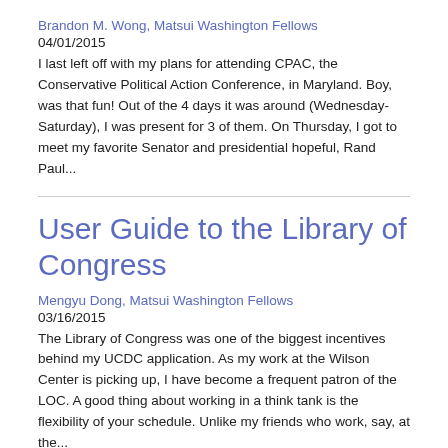Brandon M. Wong, Matsui Washington Fellows
04/01/2015
I last left off with my plans for attending CPAC, the Conservative Political Action Conference, in Maryland. Boy, was that fun! Out of the 4 days it was around (Wednesday-Saturday), I was present for 3 of them. On Thursday, I got to meet my favorite Senator and presidential hopeful, Rand Paul...
User Guide to the Library of Congress
Mengyu Dong, Matsui Washington Fellows
03/16/2015
The Library of Congress was one of the biggest incentives behind my UCDC application. As my work at the Wilson Center is picking up, I have become a frequent patron of the LOC. A good thing about working in a think tank is the flexibility of your schedule. Unlike my friends who work, say, at the...